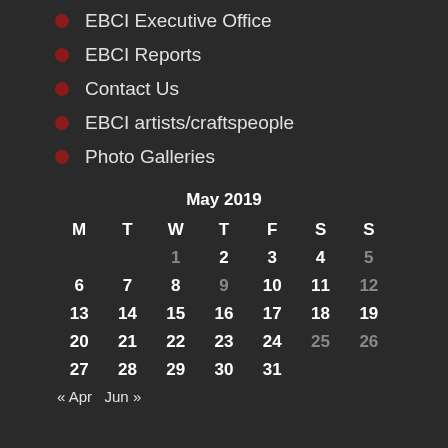EBCI Executive Office
EBCI Reports
Contact Us
EBCI artists/craftspeople
Photo Galleries
| M | T | W | T | F | S | S |
| --- | --- | --- | --- | --- | --- | --- |
|  |  | 1 | 2 | 3 | 4 | 5 |
| 6 | 7 | 8 | 9 | 10 | 11 | 12 |
| 13 | 14 | 15 | 16 | 17 | 18 | 19 |
| 20 | 21 | 22 | 23 | 24 | 25 | 26 |
| 27 | 28 | 29 | 30 | 31 |  |  |
« Apr   Jun »